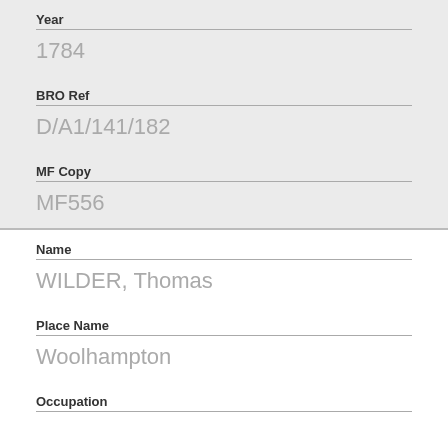Year
1784
BRO Ref
D/A1/141/182
MF Copy
MF556
Name
WILDER, Thomas
Place Name
Woolhampton
Occupation
Year